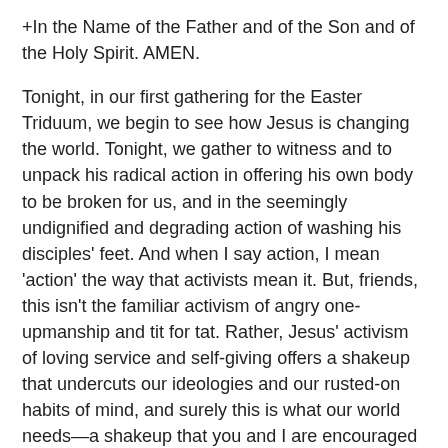+In the Name of the Father and of the Son and of the Holy Spirit. AMEN.
Tonight, in our first gathering for the Easter Triduum, we begin to see how Jesus is changing the world. Tonight, we gather to witness and to unpack his radical action in offering his own body to be broken for us, and in the seemingly undignified and degrading action of washing his disciples' feet. And when I say action, I mean 'action' the way that activists mean it. But, friends, this isn't the familiar activism of angry one-upmanship and tit for tat. Rather, Jesus' activism of loving service and self-giving offers a shakeup that undercuts our ideologies and our rusted-on habits of mind, and surely this is what our world needs—a shakeup that you and I are encouraged to experience and then to join in. Jesus' new commandment tonight, that we love one another—this mandate, this mandatum—provides the name for this Maundy Thursday, and it sets the agenda for all we the baptised to carry away from here tonight.